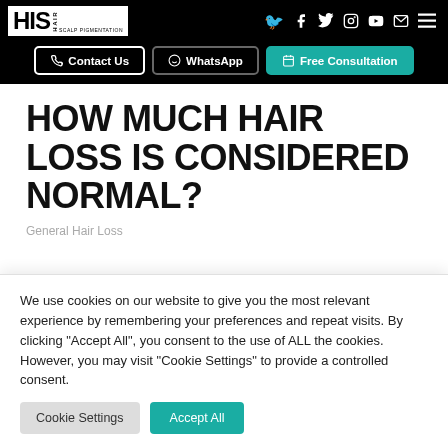HIS Hair Scalp Pigmentation — header navigation with Contact Us, WhatsApp, Free Consultation buttons
HOW MUCH HAIR LOSS IS CONSIDERED NORMAL?
General Hair Loss
We use cookies on our website to give you the most relevant experience by remembering your preferences and repeat visits. By clicking "Accept All", you consent to the use of ALL the cookies. However, you may visit "Cookie Settings" to provide a controlled consent.